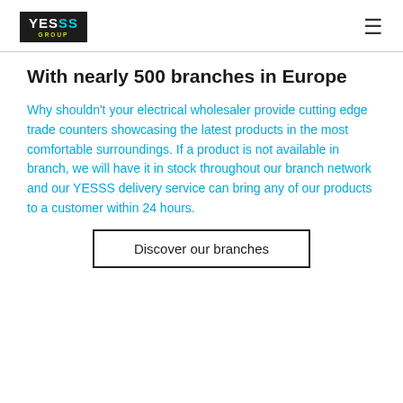[Figure (logo): YESSS GROUP logo — white text on dark background with cyan SS and yellow GROUP text]
With nearly 500 branches in Europe
Why shouldn't your electrical wholesaler provide cutting edge trade counters showcasing the latest products in the most comfortable surroundings. If a product is not available in branch, we will have it in stock throughout our branch network and our YESSS delivery service can bring any of our products to a customer within 24 hours.
Discover our branches